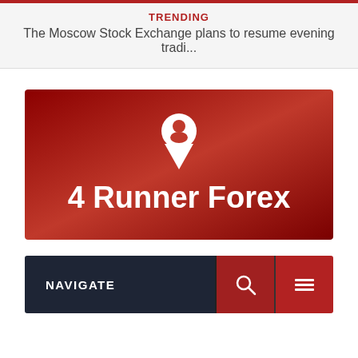TRENDING
The Moscow Stock Exchange plans to resume evening tradi...
[Figure (logo): 4 Runner Forex logo banner with dark red gradient background, white location pin icon with person silhouette, and white bold text '4 Runner Forex']
NAVIGATE